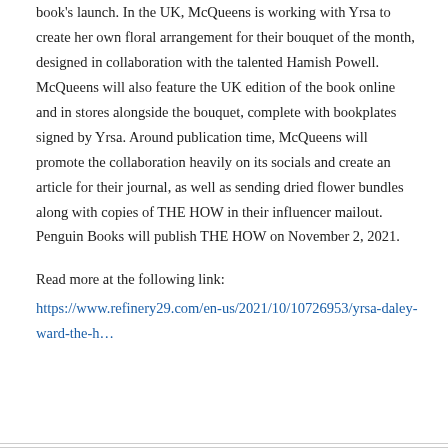book's launch. In the UK, McQueens is working with Yrsa to create her own floral arrangement for their bouquet of the month, designed in collaboration with the talented Hamish Powell. McQueens will also feature the UK edition of the book online and in stores alongside the bouquet, complete with bookplates signed by Yrsa. Around publication time, McQueens will promote the collaboration heavily on its socials and create an article for their journal, as well as sending dried flower bundles along with copies of THE HOW in their influencer mailout. Penguin Books will publish THE HOW on November 2, 2021.
Read more at the following link: https://www.refinery29.com/en-us/2021/10/10726953/yrsa-daley-ward-the-h…